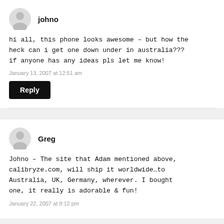johno
hi all, this phone looks awesome – but how the heck can i get one down under in australia??? if anyone has any ideas pls let me know!
January 13, 2007 at 12:51 am
Reply
Greg
Johno – The site that Adam mentioned above, calibryze.com, will ship it worldwide…to Australia, UK, Germany, wherever. I bought one, it really is adorable & fun!
January 22, 2007 at 9:12 pm